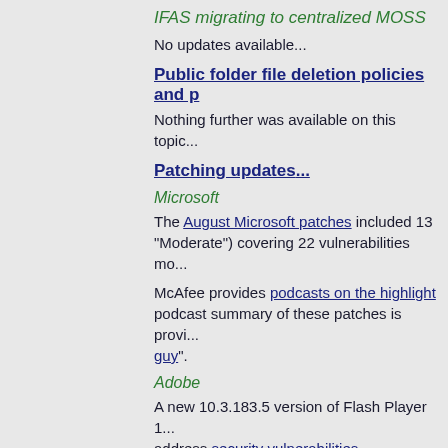IFAS migrating to centralized MOSS
No updates available...
Public folder file deletion policies and p...
Nothing further was available on this topic...
Patching updates...
Microsoft
The August Microsoft patches included 13 ... "Moderate") covering 22 vulnerabilities mo...
McAfee provides podcasts on the highlight... podcast summary of these patches is provi... guy".
Adobe
A new 10.3.183.5 version of Flash Player 1... address security vulnerabilities.
The quarterly security updates for Adobe R...